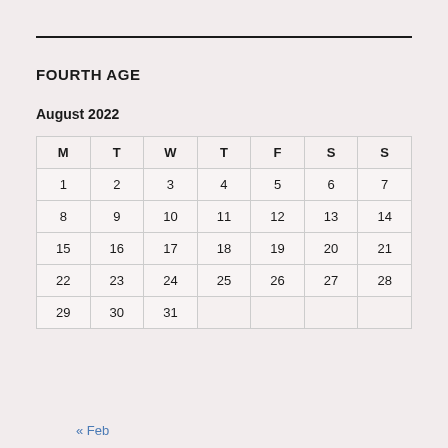FOURTH AGE
August 2022
| M | T | W | T | F | S | S |
| --- | --- | --- | --- | --- | --- | --- |
| 1 | 2 | 3 | 4 | 5 | 6 | 7 |
| 8 | 9 | 10 | 11 | 12 | 13 | 14 |
| 15 | 16 | 17 | 18 | 19 | 20 | 21 |
| 22 | 23 | 24 | 25 | 26 | 27 | 28 |
| 29 | 30 | 31 |  |  |  |  |
« Feb